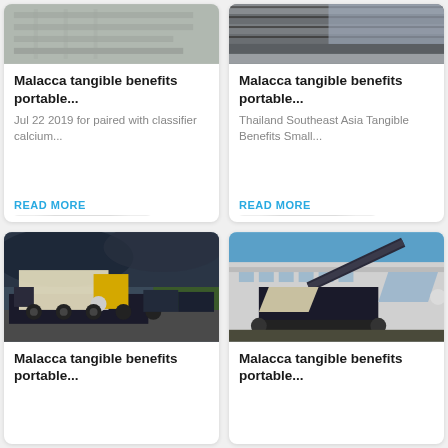[Figure (photo): Industrial machinery or equipment on a flat surface, partially visible at top of card 1]
Malacca tangible benefits portable...
Jul 22 2019 for paired with classifier calcium...
READ MORE
[Figure (photo): Stack of dark flat materials or panels, partially visible at top of card 2]
Malacca tangible benefits portable...
Thailand Southeast Asia Tangible Benefits Small...
READ MORE
[Figure (photo): Large mobile crusher/mining machine on a truck trailer, outdoors under dramatic cloudy sky]
Malacca tangible benefits portable...
[Figure (photo): Large mobile crushing machine outdoors in front of industrial building, blue sky]
Malacca tangible benefits portable...